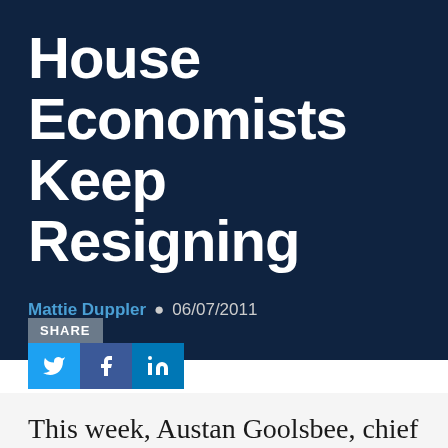House Economists Keep Resigning
Mattie Duppler • 06/07/2011
SHARE
This week, Austan Goolsbee, chief economist for the President,